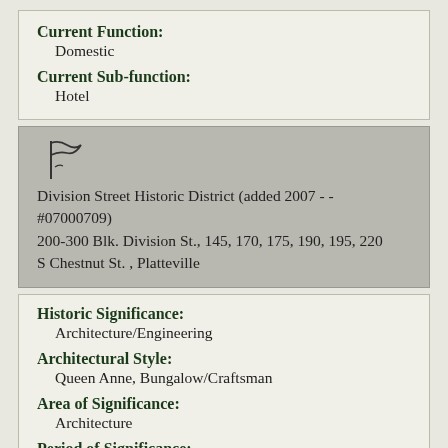Current Function: Domestic
Current Sub-function: Hotel
[Figure (illustration): Flag/banner icon symbol]
Division Street Historic District (added 2007 - - #07000709)
200-300 Blk. Division St., 145, 170, 175, 190, 195, 220 S Chestnut St. , Platteville
Historic Significance: Architecture/Engineering
Architectural Style: Queen Anne, Bungalow/Craftsman
Area of Significance: Architecture
Period of Significance: